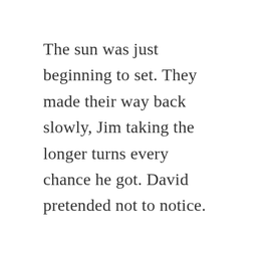The sun was just beginning to set. They made their way back slowly, Jim taking the longer turns every chance he got. David pretended not to notice.